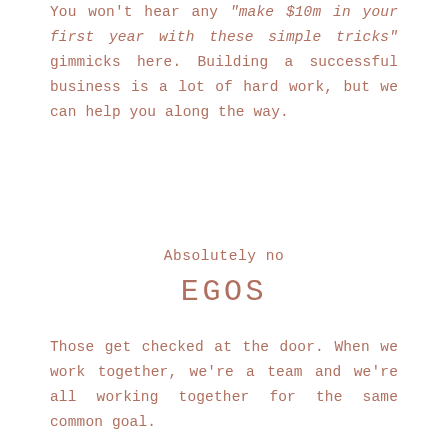You won't hear any "make $10m in your first year with these simple tricks" gimmicks here. Building a successful business is a lot of hard work, but we can help you along the way.
Absolutely no EGOS
Those get checked at the door. When we work together, we're a team and we're all working together for the same common goal.